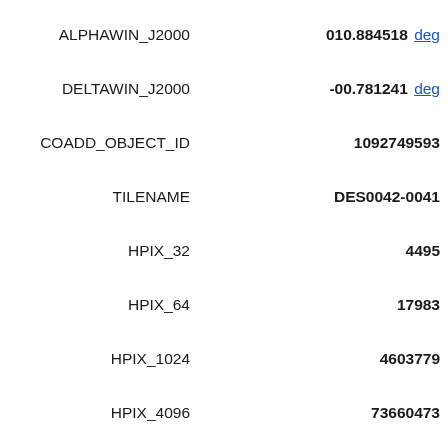ALPHAWIN_J2000   010.884518 deg
DELTAWIN_J2000   -00.781241 deg
COADD_OBJECT_ID   1092749593
TILENAME   DES0042-0041
HPIX_32   4495
HPIX_64   17983
HPIX_1024   4603779
HPIX_4096   73660473